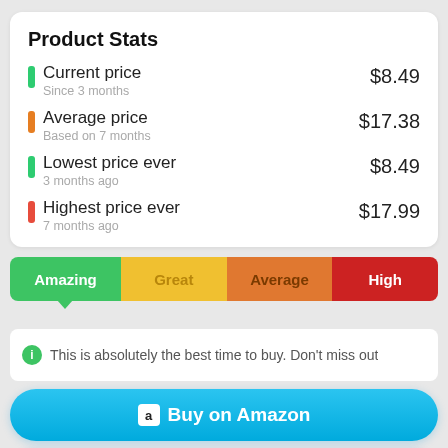Product Stats
Current price — $8.49, Since 3 months
Average price — $17.38, Based on 7 months
Lowest price ever — $8.49, 3 months ago
Highest price ever — $17.99, 7 months ago
[Figure (infographic): Rating bar with four segments: Amazing (green, active with downward arrow), Great (yellow), Average (orange), High (red)]
This is absolutely the best time to buy. Don't miss out.
Buy on Amazon
Start Watching